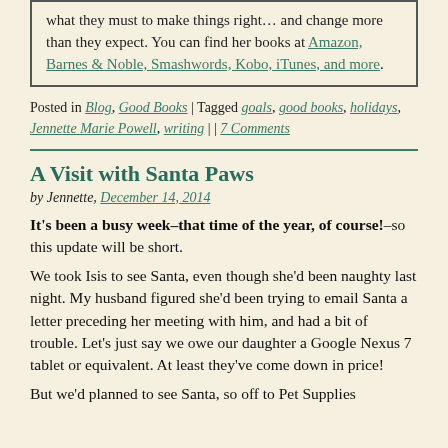what they must to make things right… and change more than they expect. You can find her books at Amazon, Barnes & Noble, Smashwords, Kobo, iTunes, and more.
Posted in Blog, Good Books | Tagged goals, good books, holidays, Jennette Marie Powell, writing | | 7 Comments
A Visit with Santa Paws
by Jennette, December 14, 2014
It's been a busy week–that time of the year, of course!–so this update will be short.
We took Isis to see Santa, even though she'd been naughty last night. My husband figured she'd been trying to email Santa a letter preceding her meeting with him, and had a bit of trouble. Let's just say we owe our daughter a Google Nexus 7 tablet or equivalent. At least they've come down in price!
But we'd planned to see Santa, so off to Pet Supplies